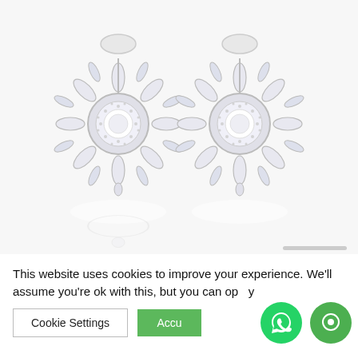[Figure (photo): Product photo of a pair of ornate crystal/cubic zirconia silver earrings with floral/snowflake design, featuring a circular center stone surrounded by marquise-cut stones radiating outward, with reflections visible below.]
This website uses cookies to improve your experience. We'll assume you're ok with this, but you can op... y...
Cookie Settings
Accu...